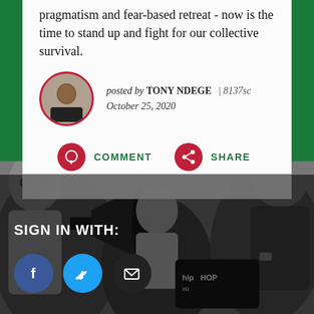something new. Now is not the time of pragmatism and fear-based retreat - now is the time to stand up and fight for our collective survival.
posted by TONY NDEGE | 8137sc
October 25, 2020
[Figure (infographic): COMMENT button with red circle speech bubble icon and green uppercase text]
[Figure (infographic): SHARE button with red circle share icon and green uppercase text]
[Figure (photo): Grayscale protest crowd with megaphone and Hip Hop for Vote sign in background]
SIGN IN WITH:
[Figure (infographic): Social sign-in buttons: Facebook (blue circle with f), Twitter (cyan circle with bird), Email (black circle with envelope)]